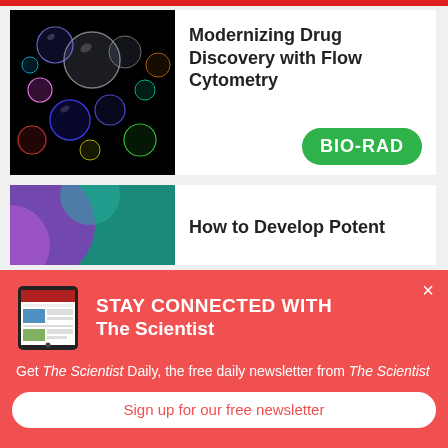Modernizing Drug Discovery with Flow Cytometry
[Figure (photo): Colorful fluorescent bubbles/spheres on a dark black background, representing flow cytometry cell imaging]
[Figure (logo): BIO-RAD logo in white bold text on a green rounded rectangle]
How to Develop Potent
[Figure (photo): Purple and teal abstract glowing shapes, partial view]
STAY CONNECTED WITH The Scientist
[Figure (photo): Tablet device showing The Scientist Daily website]
Get The Scientist Daily, the free daily newsletter from The Scientist
Sign up for our free newsletter